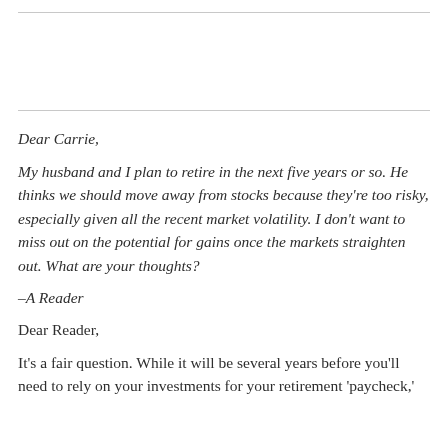Dear Carrie,
My husband and I plan to retire in the next five years or so. He thinks we should move away from stocks because they're too risky, especially given all the recent market volatility. I don't want to miss out on the potential for gains once the markets straighten out. What are your thoughts?
–A Reader
Dear Reader,
It's a fair question. While it will be several years before you'll need to rely on your investments for your retirement 'paycheck,'